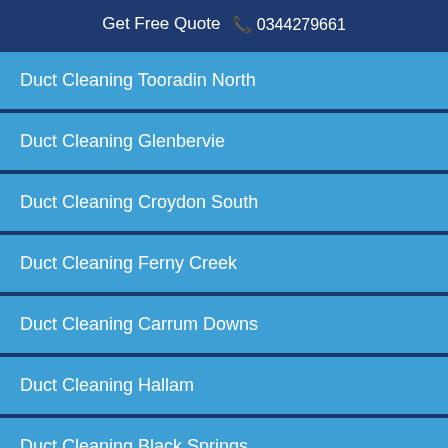Get Free Quote  📞 0344279661
Duct Cleaning Tooradin North
Duct Cleaning Glenbervie
Duct Cleaning Croydon South
Duct Cleaning Ferny Creek
Duct Cleaning Carrum Downs
Duct Cleaning Hallam
Duct Cleaning Black Springs
Duct Cleaning Airport West
Duct Cleaning Williamstown North